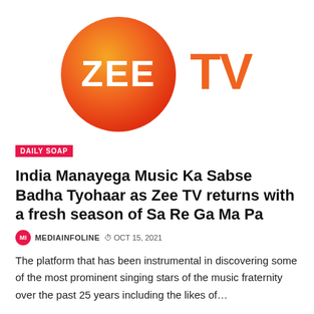[Figure (logo): Zee TV logo — orange gradient circle with white ZEE text inside, and bold TV text in orange to the right]
DAILY SOAP
India Manayega Music Ka Sabse Badha Tyohaar as Zee TV returns with a fresh season of Sa Re Ga Ma Pa
MI MEDIAINFOLINE  OCT 15, 2021
The platform that has been instrumental in discovering some of the most prominent singing stars of the music fraternity over the past 25 years including the likes of…